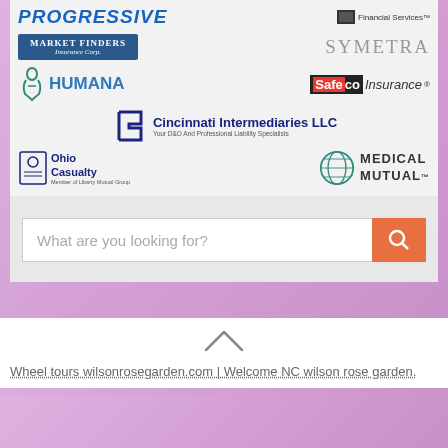[Figure (logo): Grid of insurance company logos: Progressive, Financial Services, Market Finders Insurance Corp, Symetra, Humana, Safeco Insurance, Cincinnati Intermediaries LLC, Ohio Casualty, Medical Mutual]
[Figure (other): Search bar with placeholder 'What are you looking for?' and orange search button]
[Figure (other): Up arrow chevron symbol]
Wheel tours wilsonrosegarden.com | Welcome NC wilson rose garden.